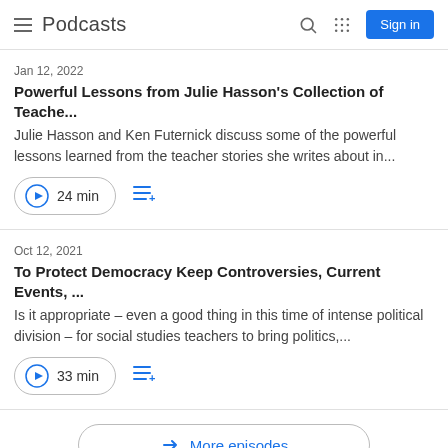Podcasts
Jan 12, 2022
Powerful Lessons from Julie Hasson's Collection of Teache...
Julie Hasson and Ken Futernick discuss some of the powerful lessons learned from the teacher stories she writes about in...
24 min
Oct 12, 2021
To Protect Democracy Keep Controversies, Current Events, ...
Is it appropriate – even a good thing in this time of intense political division – for social studies teachers to bring politics,...
33 min
More episodes